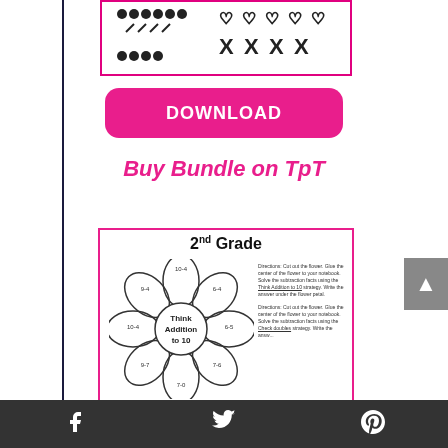[Figure (illustration): Worksheet preview showing dots/circles and hearts with X marks, with a pink border]
[Figure (illustration): Pink rounded rectangle DOWNLOAD button]
Buy Bundle on TpT
[Figure (illustration): 2nd Grade worksheet preview showing a flower with 'Think Addition to 10' in the center petals, with directions text on the right side]
Social sharing bar with Facebook, Twitter, and Pinterest icons